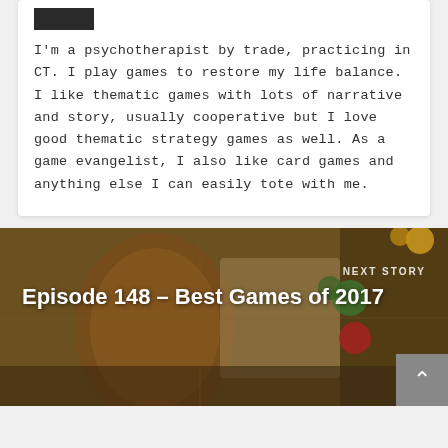[Figure (photo): Small dark avatar/profile photo thumbnail in the top left of a card]
I'm a psychotherapist by trade, practicing in CT. I play games to restore my life balance. I like thematic games with lots of narrative and story, usually cooperative but I love good thematic strategy games as well. As a game evangelist, I also like card games and anything else I can easily tote with me.
[Figure (photo): Board game photo showing figurines and game components on a game board, used as background for 'Next Story' navigation block]
NEXT STORY
Episode 148 – Best Games of 2017